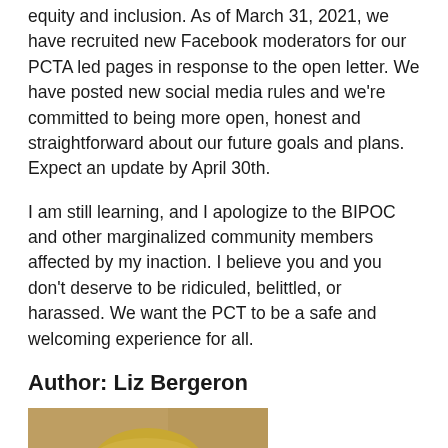equity and inclusion. As of March 31, 2021, we have recruited new Facebook moderators for our PCTA led pages in response to the open letter. We have posted new social media rules and we're committed to being more open, honest and straightforward about our future goals and plans. Expect an update by April 30th.
I am still learning, and I apologize to the BIPOC and other marginalized community members affected by my inaction. I believe you and you don't deserve to be ridiculed, belittled, or harassed. We want the PCT to be a safe and welcoming experience for all.
Author: Liz Bergeron
[Figure (photo): Headshot of Liz Bergeron, a woman with blonde hair wearing a blue shirt, smiling, photographed against a warm tan/brown background.]